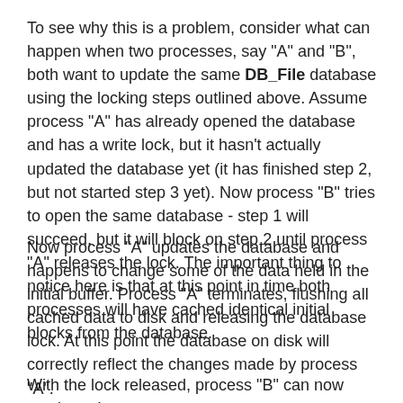To see why this is a problem, consider what can happen when two processes, say "A" and "B", both want to update the same DB_File database using the locking steps outlined above. Assume process "A" has already opened the database and has a write lock, but it hasn't actually updated the database yet (it has finished step 2, but not started step 3 yet). Now process "B" tries to open the same database - step 1 will succeed, but it will block on step 2 until process "A" releases the lock. The important thing to notice here is that at this point in time both processes will have cached identical initial blocks from the database.
Now process "A" updates the database and happens to change some of the data held in the initial buffer. Process "A" terminates, flushing all cached data to disk and releasing the database lock. At this point the database on disk will correctly reflect the changes made by process "A".
With the lock released, process "B" can now continue. It